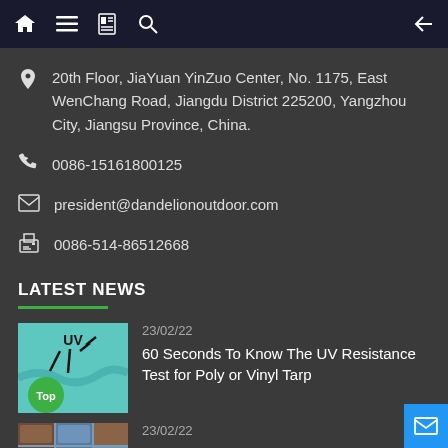Navigation bar with home, menu, card, search, and back icons
20th Floor, JiaYuan YinZuo Center, No. 1175, East WenChang Road, Jiangdu District 225200, Yangzhou City, Jiangsu Province, China.
0086-15161800125
president@dandelionoutdoor.com
0086-514-86512668
LATEST NEWS
23/02/22
60 Seconds To Know The UV Resistance Test for Poly or Vinyl Tarp
[Figure (photo): UV resistance test image with arrows and 'Top' badge on teal background]
23/02/22